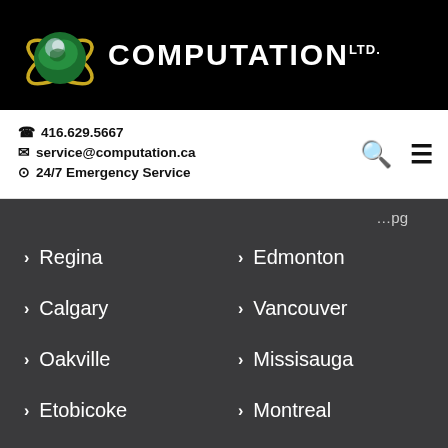[Figure (logo): Computation Ltd. logo with globe and company name in white on black header bar]
☎ 416.629.5667
✉ service@computation.ca
⊙ 24/7 Emergency Service
> Regina
> Edmonton
> Calgary
> Vancouver
> Oakville
> Missisauga
> Etobicoke
> Montreal
> Toronto
Contact Us